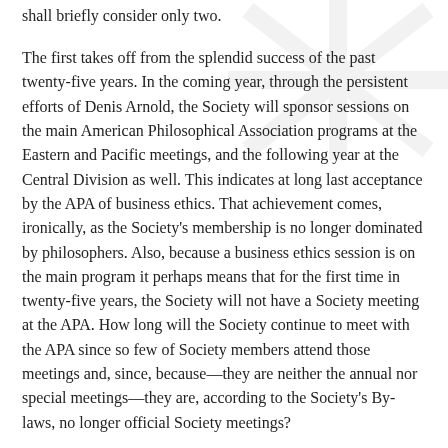shall briefly consider only two.
The first takes off from the splendid success of the past twenty-five years. In the coming year, through the persistent efforts of Denis Arnold, the Society will sponsor sessions on the main American Philosophical Association programs at the Eastern and Pacific meetings, and the following year at the Central Division as well. This indicates at long last acceptance by the APA of business ethics. That achievement comes, ironically, as the Society's membership is no longer dominated by philosophers. Also, because a business ethics session is on the main program it perhaps means that for the first time in twenty-five years, the Society will not have a Society meeting at the APA. How long will the Society continue to meet with the APA since so few of Society members attend those meetings and, since, because—they are neither the annual nor special meetings—they are, according to the Society's By-laws, no longer official Society meetings?